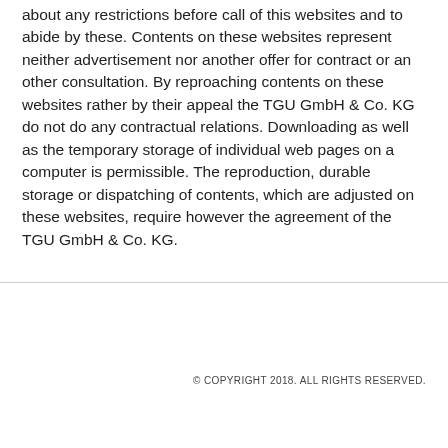about any restrictions before call of this websites and to abide by these. Contents on these websites represent neither advertisement nor another offer for contract or an other consultation. By reproaching contents on these websites rather by their appeal the TGU GmbH & Co. KG do not do any contractual relations. Downloading as well as the temporary storage of individual web pages on a computer is permissible. The reproduction, durable storage or dispatching of contents, which are adjusted on these websites, require however the agreement of the TGU GmbH & Co. KG.
© COPYRIGHT 2018. ALL RIGHTS RESERVED.